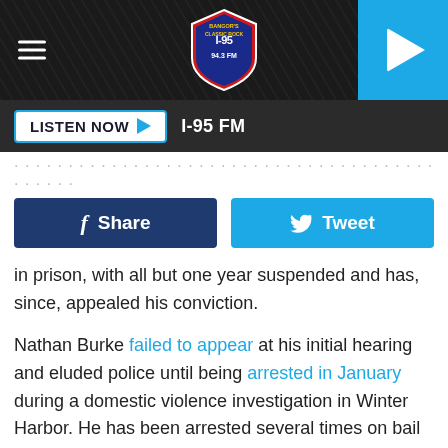[Figure (screenshot): I-95 FM Classic Rock radio station top navigation bar with hamburger menu, station shield logo, and blue play button]
LISTEN NOW ▶  I-95 FM
in prison, with all but one year suspended and has, since, appealed his conviction.
Nathan Burke failed to appear at his initial hearing and eluded police until being arrested in January during a domestic violence investigation in Winter Harbor. He has been arrested several times on bail violations and is still awaiting his trial. The BDN reports that, according to his attorney, Burke was released on bail in June because he had